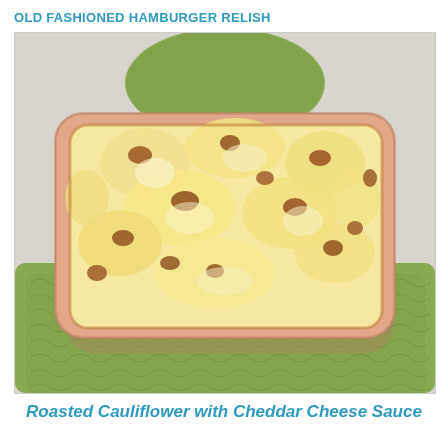OLD FASHIONED HAMBURGER RELISH
[Figure (photo): A rectangular ceramic baking dish containing roasted cauliflower with golden-browned, bubbly cheddar cheese sauce on top, placed on a green knit/crochet textured potholder/trivet on a light gray background.]
Roasted Cauliflower with Cheddar Cheese Sauce